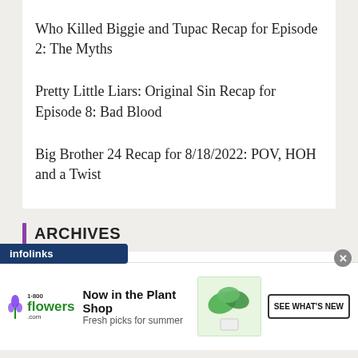Who Killed Biggie and Tupac Recap for Episode 2: The Myths
Pretty Little Liars: Original Sin Recap for Episode 8: Bad Blood
Big Brother 24 Recap for 8/18/2022: POV, HOH and a Twist
ARCHIVES
August 2022
July 2022
[Figure (screenshot): Infolinks label bar overlay at bottom of content area]
[Figure (screenshot): 1-800-Flowers advertisement banner: 'Now in the Plant Shop - Fresh picks for summer' with plant image and 'SEE WHAT'S NEW' button]